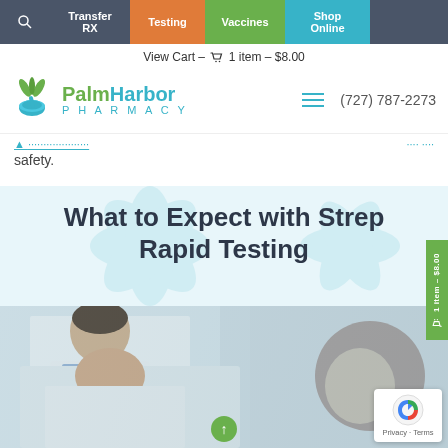Transfer RX | Testing | Vaccines | Shop Online
View Cart – 1 item – $8.00
[Figure (logo): Palm Harbor Pharmacy logo with mortar and pestle icon, green and teal colors]
(727) 787-2273
safety.
What to Expect with Strep Rapid Testing
[Figure (photo): Doctor examining a patient - man in white coat looking down at a woman with curly hair]